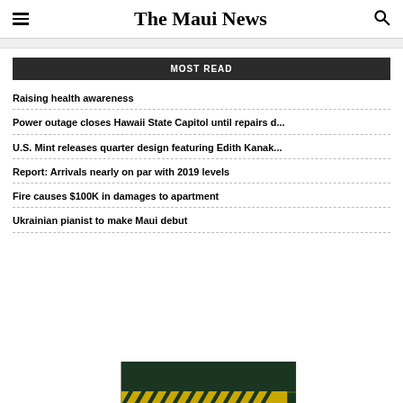The Maui News
MOST READ
Raising health awareness
Power outage closes Hawaii State Capitol until repairs d...
U.S. Mint releases quarter design featuring Edith Kanak...
Report: Arrivals nearly on par with 2019 levels
Fire causes $100K in damages to apartment
Ukrainian pianist to make Maui debut
[Figure (photo): Partial bottom image with dark green and yellow diagonal stripes, partial white text visible]